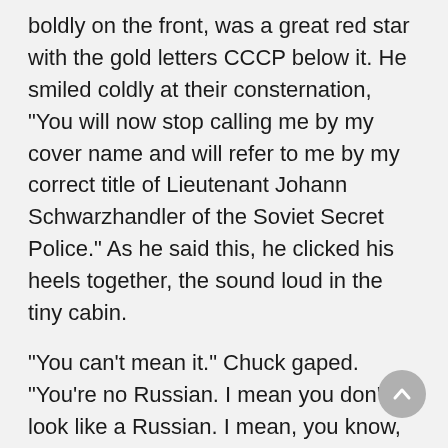boldly on the front, was a great red star with the gold letters CCCP below it. He smiled coldly at their consternation, "You will now stop calling me by my cover name and will refer to me by my correct title of Lieutenant Johann Schwarzhandler of the Soviet Secret Police." As he said this, he clicked his heels together, the sound loud in the tiny cabin.
"You can't mean it." Chuck gaped. "You're no Russian. I mean you don't look like a Russian. I mean, you know, Russians, blond hair and cigarettes hanging from their lips. . . ."
"Prejudiced capitalist honky swine! You think that every black man in the world is a willing slave to his imperialist masters.